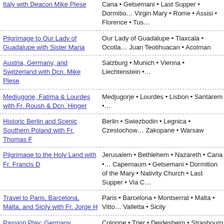Italy with Deacon Mike Plese | Cana • Getsemani • Last Supper • Dormition of the Virgin Mary • Rome • Assisi • Florence • Tus...
Pilgrimage to Our Lady of Guadalupe with Sister Maria | Our Lady of Guadalupe • Tlaxcala • Ocotla... Juan Teotihuacan • Acolman
Austria, Germany, and Switzerland with Dcn. Mike Plese | Salzburg • Munich • Vienna • Liechtenstein •...
Medjugorje, Fatima & Lourdes with Fr. Roush & Dcn. Hinger | Medjugorje • Lourdes • Lisbon • Santarem •...
Historic Berlin and Scenic Southern Poland with Fr. Thomas F | Berlin • Swiezbodin • Legnica • Czestochow... Zakopane • Warsaw
Pilgrimage to the Holy Land with Fr. Francis D | Jerusalem • Bethlehem • Nazareth • Cana •... Capernaum • Getsemani • Dormition of the Mary • Nativity Church • Last Supper • Via C...
Travel to Paris, Barcelona, Malta, and Sicily with Fr. Jorge H | Paris • Barcelona • Montserrat • Malta • Vitto... Valletta • Sicily
Passion Play: Germany, Switzerland, and France with Deacon Mike H. and Kathy H. | Cologne • Trier • Deidesheim • Strasbourg •... Fussen • Munich